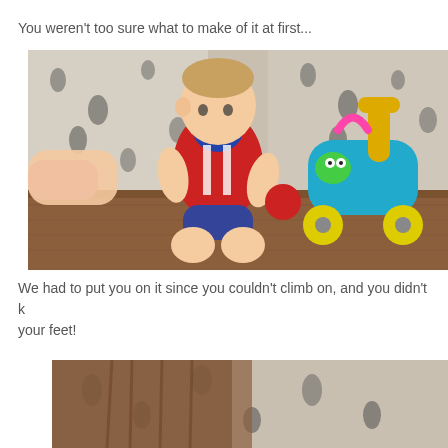You weren't too sure what to make of it at first...
[Figure (photo): A baby in a red and blue outfit sitting on a wooden floor next to a colorful toy walker, with a floral patterned sofa in the background.]
We had to put you on it since you couldn't climb on, and you didn't k your feet!
[Figure (photo): Partial view of another photo showing a person with long hair, cropped at the bottom of the page.]